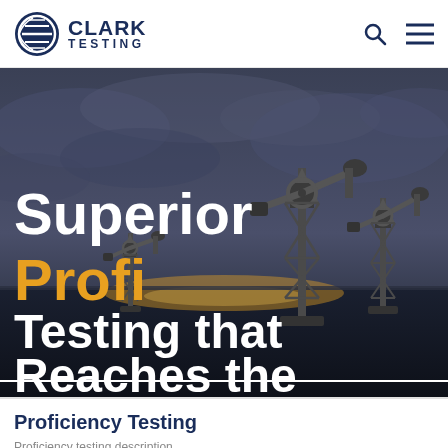CLARK TESTING
[Figure (photo): Oil pump jacks at dusk/sunset with dramatic cloudy sky, dark moody industrial scene with multiple pumpjacks silhouetted against the sky]
Superior Profi Testing that Reaches the Mark
Proficiency Testing
Proficiency Testing description text (partially visible)